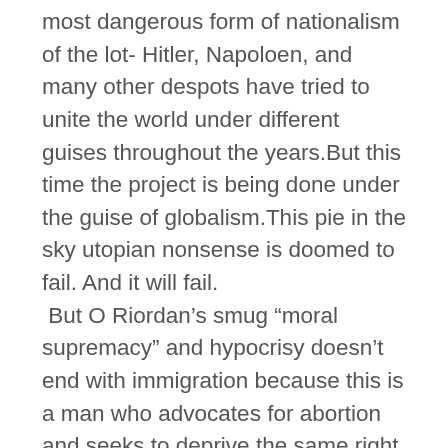most dangerous form of nationalism of the lot- Hitler, Napoloen, and many other despots have tried to unite the world under different guises throughout the years.But this time the project is being done under the guise of globalism.This pie in the sky utopian nonsense is doomed to fail. And it will fail.
 But O Riordan’s smug “moral supremacy” and hypocrisy doesn’t end with immigration because this is a man who advocates for abortion and seeks to deprive the same right to life that he was given by his own mother.Additionally, the man’s hysterical